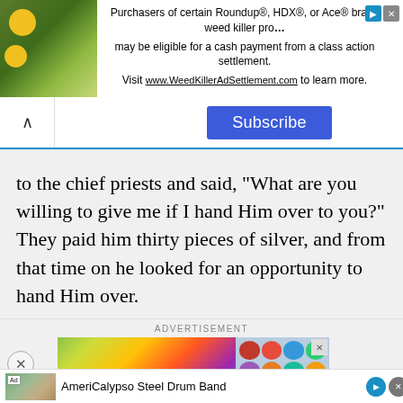[Figure (screenshot): Top advertisement banner for Roundup/HDX/Ace weed killer class action settlement with plant image on left]
[Figure (screenshot): Subscribe button bar with caret/chevron on left and blue Subscribe button in center]
to the chief priests and said, "What are you willing to give me if I hand Him over to you?" They paid him thirty pieces of silver, and from that time on he looked for an opportunity to hand Him over.
ADVERTISEMENT
[Figure (screenshot): Advertisement banner showing 'Become a master of' text over colorful gradient background with emoji grid on right]
[Figure (screenshot): Bottom ad for AmeriCalypso Steel Drum Band with thumbnail image]